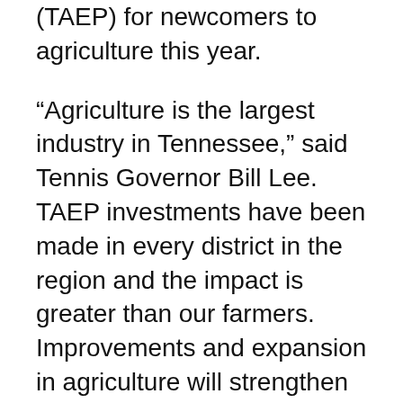(TAEP) for newcomers to agriculture this year.
“Agriculture is the largest industry in Tennessee,” said Tennis Governor Bill Lee. TAEP investments have been made in every district in the region and the impact is greater than our farmers. Improvements and expansion in agriculture will strengthen our rural economic development efforts.
TAEP has invested nearly $ 207 million in 68,748 manufacturing projects over the past 15 years, supporting agricultural production projects.
“With the support of legislative and industry partners and Governor Lee, more long-term